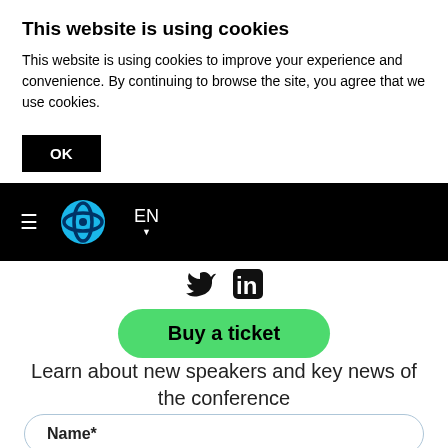This website is using cookies
This website is using cookies to improve your experience and convenience. By continuing to browse the site, you agree that we use cookies.
OK
[Figure (screenshot): Black navigation bar with hamburger menu icon, blue DNA/helix logo, and EN language selector with dropdown arrow]
[Figure (screenshot): Social media icons: Twitter bird, LinkedIn 'in' logo]
Buy a ticket
Learn about new speakers and key news of the conference
Name*